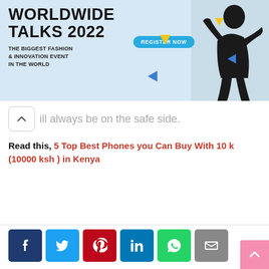[Figure (illustration): Advertisement banner for Worldwide Talks 2022 - The Biggest Fashion & Innovation Event in the World, with a Register Now button, decorative triangles in yellow and blue, and a person figure in a pose.]
ill always be on the safe side.
Read this, 5 Top Best Phones you Can Buy With 10 k (10000 ksh ) in Kenya
[Figure (infographic): Social media share buttons: Facebook, Twitter, Pinterest, LinkedIn, WhatsApp, Email]
< OLDER
Infinix Hot 11 Play Specifications Available in Kenya
NEWER >
5 Tips to Help You Choose A Watch for Someone